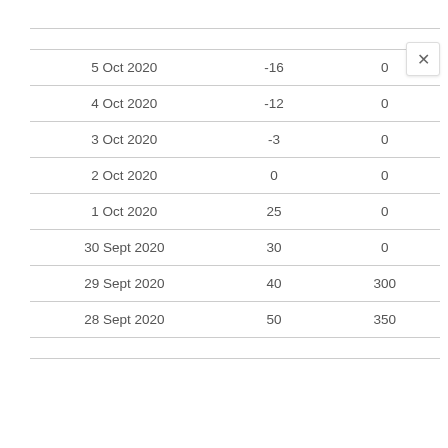| 5 Oct 2020 | -16 | 0 |
| 4 Oct 2020 | -12 | 0 |
| 3 Oct 2020 | -3 | 0 |
| 2 Oct 2020 | 0 | 0 |
| 1 Oct 2020 | 25 | 0 |
| 30 Sept 2020 | 30 | 0 |
| 29 Sept 2020 | 40 | 300 |
| 28 Sept 2020 | 50 | 350 |